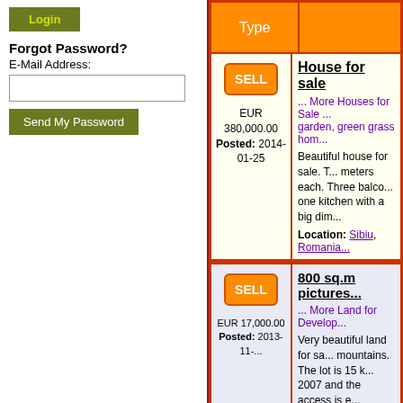[Figure (screenshot): Login button (olive/yellow-green color) at top of left panel]
Forgot Password?
E-Mail Address:
[Figure (screenshot): Email input field (empty text box)]
[Figure (screenshot): Send My Password button (olive green)]
| Type |  |
| --- | --- |
| SELL
EUR
380,000.00
Posted: 2014-01-25 | House for sale
... More Houses for Sale ...
garden, green grass hom...
Beautiful house for sale. T... meters each. Three balco... one kitchen with a big dim...
Location: Sibiu, Romania... |
| SELL
EUR 17,000.00
Posted: 2013-11-... | 800 sq.m pictures...
... More Land for Develop...
Very beautiful land for sa... mountains. The lot is 15 k... 2007 and the access is e... |